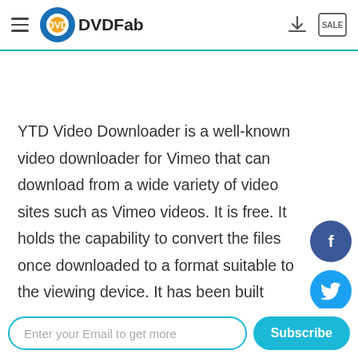DVDFab
YTD Video Downloader is a well-known video downloader for Vimeo that can download from a wide variety of video sites such as Vimeo videos. It is free. It holds the capability to convert the files once downloaded to a format suitable to the viewing device. It has been built following a simple interface and making the whole video stream downloads easy to understand.